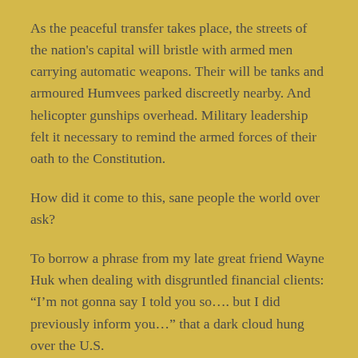As the peaceful transfer takes place, the streets of the nation's capital will bristle with armed men carrying automatic weapons. Their will be tanks and armoured Humvees parked discreetly nearby. And helicopter gunships overhead. Military leadership felt it necessary to remind the armed forces of their oath to the Constitution.
How did it come to this, sane people the world over ask?
To borrow a phrase from my late great friend Wayne Huk when dealing with disgruntled financial clients: “I’m not gonna say I told you so…. but I did previously inform you…” that a dark cloud hung over the U.S.